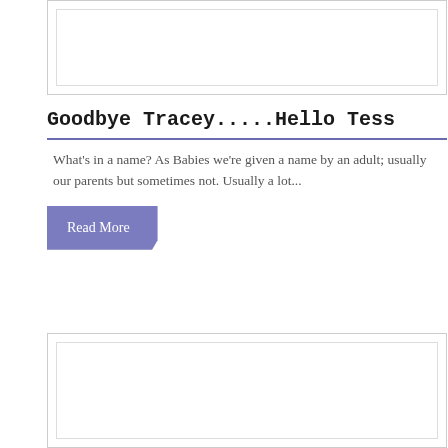[Figure (other): Image placeholder box at top of page]
Goodbye Tracey.....Hello Tess
What's in a name? As Babies we're given a name by an adult; usually our parents but sometimes not.  Usually a lot...
Read More
[Figure (other): Image placeholder box at bottom of page]